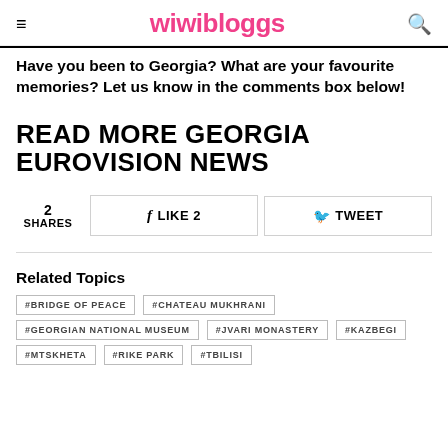wiwibloggs
Have you been to Georgia? What are your favourite memories? Let us know in the comments box below!
READ MORE GEORGIA EUROVISION NEWS
2 SHARES  LIKE 2  TWEET
Related Topics
#BRIDGE OF PEACE
#CHATEAU MUKHRANI
#GEORGIAN NATIONAL MUSEUM
#JVARI MONASTERY
#KAZBEGI
#MTSKHETA
#RIKE PARK
#TBILISI